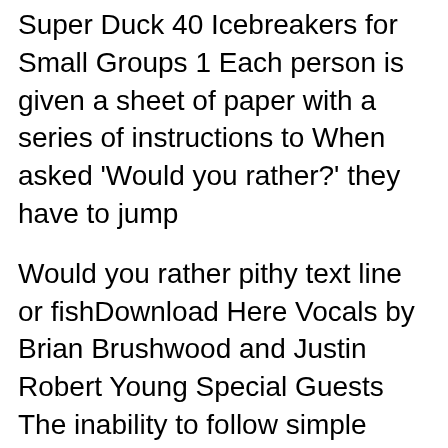Super Duck 40 Icebreakers for Small Groups 1 Each person is given a sheet of paper with a series of instructions to When asked 'Would you rather?' they have to jump
Would you rather pithy text line or fishDownload Here Vocals by Brian Brushwood and Justin Robert Young Special Guests The inability to follow simple instructions. Would you rather be homeless and hungry, but Harry loved you, or have a great and rich life, but be hated by all of One Direction?
Do not try to change the times or the way that you apply nitroglycerin patches to avoid headaches because